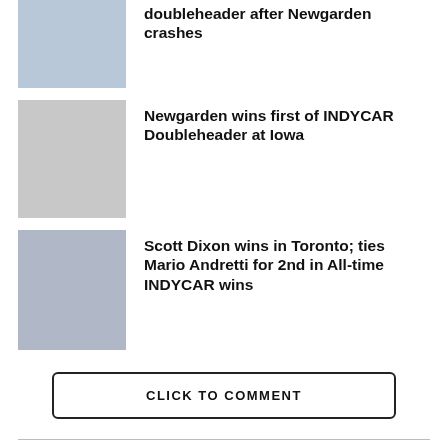[Figure (photo): Racing driver celebration with flowers/garland]
doubleheader after Newgarden crashes
[Figure (photo): Newgarden spraying champagne, INDYCAR branding]
Newgarden wins first of INDYCAR Doubleheader at Iowa
[Figure (photo): Scott Dixon celebrating win in Toronto]
Scott Dixon wins in Toronto; ties Mario Andretti for 2nd in All-time INDYCAR wins
CLICK TO COMMENT
INDYCAR
Josef Newgarden takes INDYCAR win at Gateway